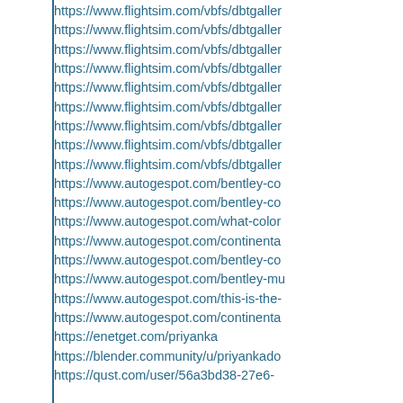https://www.flightsim.com/vbfs/dbtgaller…
https://www.flightsim.com/vbfs/dbtgaller…
https://www.flightsim.com/vbfs/dbtgaller…
https://www.flightsim.com/vbfs/dbtgaller…
https://www.flightsim.com/vbfs/dbtgaller…
https://www.flightsim.com/vbfs/dbtgaller…
https://www.flightsim.com/vbfs/dbtgaller…
https://www.flightsim.com/vbfs/dbtgaller…
https://www.flightsim.com/vbfs/dbtgaller…
https://www.autogespot.com/bentley-co…
https://www.autogespot.com/bentley-co…
https://www.autogespot.com/what-color…
https://www.autogespot.com/continenta…
https://www.autogespot.com/bentley-co…
https://www.autogespot.com/bentley-mu…
https://www.autogespot.com/this-is-the-…
https://www.autogespot.com/continenta…
https://enetget.com/priyanka
https://blender.community/u/priyankado…
https://qust.com/user/56a3bd38-27e6-…